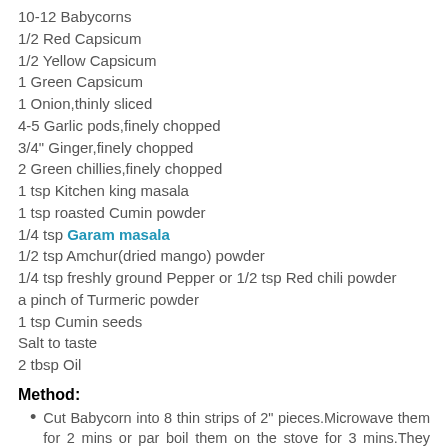10-12 Babycorns
1/2 Red Capsicum
1/2 Yellow Capsicum
1 Green Capsicum
1 Onion,thinly sliced
4-5 Garlic pods,finely chopped
3/4" Ginger,finely chopped
2 Green chillies,finely chopped
1 tsp Kitchen king masala
1 tsp roasted Cumin powder
1/4 tsp Garam masala
1/2 tsp Amchur(dried mango) powder
1/4 tsp freshly ground Pepper or 1/2 tsp Red chili powder
a pinch of Turmeric powder
1 tsp Cumin seeds
Salt to taste
2 tbsp Oil
Method:
Cut Babycorn into 8 thin strips of 2" pieces.Microwave them for 2 mins or par boil them on the stove for 3 mins.They should be